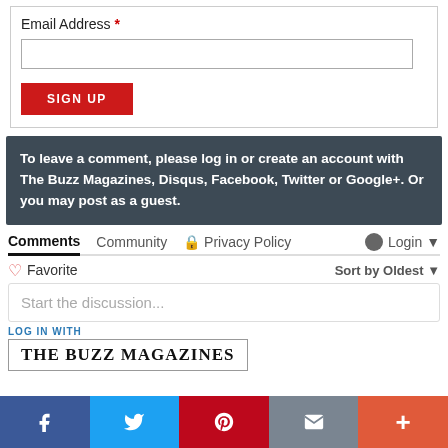Email Address *
[Figure (screenshot): Email input field (empty text box)]
[Figure (screenshot): SIGN UP red button]
To leave a comment, please log in or create an account with The Buzz Magazines, Disqus, Facebook, Twitter or Google+. Or you may post as a guest.
Comments  Community  Privacy Policy  Login
Favorite  Sort by Oldest
Start the discussion...
LOG IN WITH
[Figure (logo): THE BUZZ MAGAZINES logo in serif font inside a bordered box]
[Figure (infographic): Social share bar with Facebook, Twitter, Pinterest, Email, and More buttons]